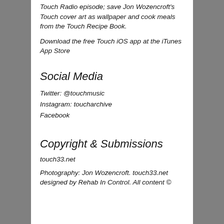Touch Radio episode; save Jon Wozencroft's Touch cover art as wallpaper and cook meals from the Touch Recipe Book.
Download the free Touch iOS app at the iTunes App Store
Social Media
Twitter: @touchmusic
Instagram: toucharchive
Facebook
Copyright & Submissions
touch33.net
Photography: Jon Wozencroft. touch33.net designed by Rehab In Control. All content ©